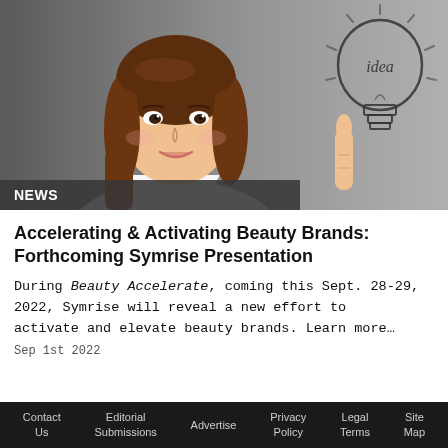[Figure (photo): A young Asian woman smiling and holding up one finger pointing to a hand-drawn lightbulb illustration with the word 'idea' written inside it, on a gray gradient background.]
NEWS
Accelerating & Activating Beauty Brands: Forthcoming Symrise Presentation
During Beauty Accelerate, coming this Sept. 28-29, 2022, Symrise will reveal a new effort to activate and elevate beauty brands. Learn more…
Contact Us   Editorial Submissions   Advertise   Privacy Policy   Legal Terms   Site Map